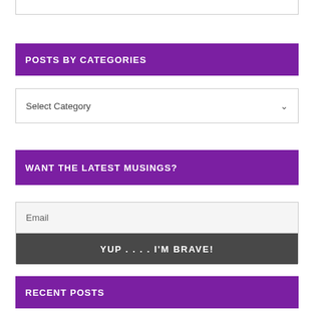POSTS BY CATEGORIES
Select Category
WANT THE LATEST MUSINGS?
Email
YUP . . . . I'M BRAVE!
RECENT POSTS